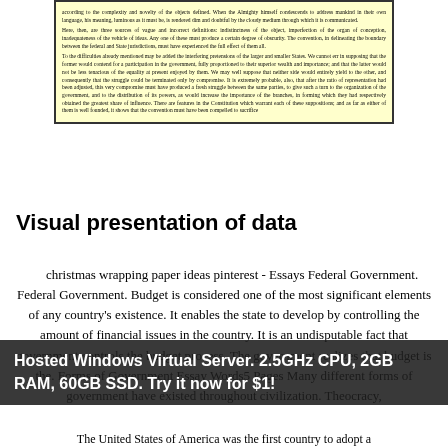[Figure (screenshot): Scanned text excerpt on yellow background with border, containing paragraphs about definitions, federal and state jurisdictions, and constitutional convention compromises.]
Visual presentation of data
christmas wrapping paper ideas pinterest - Essays Federal Government. Federal Government. Budget is considered one of the most significant elements of any country's existence. It enables the state to develop by controlling the amount of financial issues in the country. It is an undisputable fact that government controls the budget process. The government realizes that budget is the. Forms of Government Essay Words5 Pages Many different forms of government have existed throughout civilization. Theocracy, ... of government have existed throughout civilization. Theocracy, ... s of ... Ted show the ent of choice. Jan 26. The United States of America was the first country to adopt a
Hosted Windows Virtual Server. 2.5GHz CPU, 2GB RAM, 60GB SSD. Try it now for $1!
The United States of America was the first country to adopt a